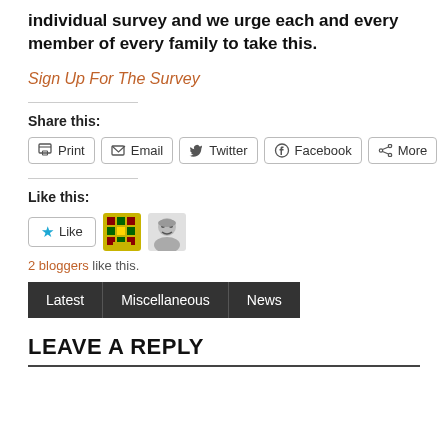individual survey and we urge each and every member of every family to take this.
Sign Up For The Survey
Share this:
Print  Email  Twitter  Facebook  More
Like this:
2 bloggers like this.
Latest  Miscellaneous  News
LEAVE A REPLY